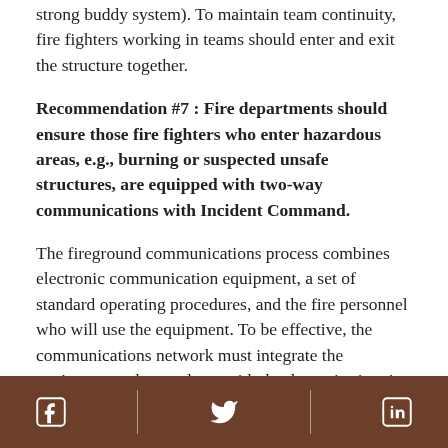strong buddy system). To maintain team continuity, fire fighters working in teams should enter and exit the structure together.
Recommendation #7 : Fire departments should ensure those fire fighters who enter hazardous areas, e.g., burning or suspected unsafe structures, are equipped with two-way communications with Incident Command.
The fireground communications process combines electronic communication equipment, a set of standard operating procedures, and the fire personnel who will use the equipment. To be effective, the communications network must integrate the equipment and procedures with the dynamic situation at the incident site, especially in
Social media icons: Facebook, Twitter, LinkedIn